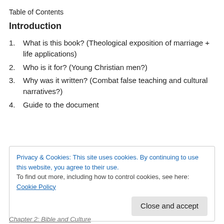Table of Contents
Introduction
What is this book? (Theological exposition of marriage + life applications)
Who is it for? (Young Christian men?)
Why was it written? (Combat false teaching and cultural narratives?)
Guide to the document
Privacy & Cookies: This site uses cookies. By continuing to use this website, you agree to their use.
To find out more, including how to control cookies, see here: Cookie Policy
Close and accept
Chapter 2: Bible and Culture